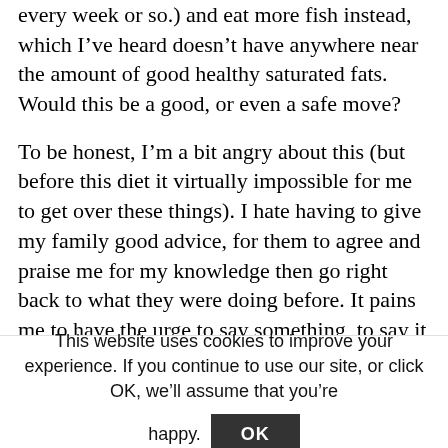every week or so.) and eat more fish instead, which I've heard doesn't have anywhere near the amount of good healthy saturated fats. Would this be a good, or even a safe move?
To be honest, I'm a bit angry about this (but before this diet it virtually impossible for me to get over these things). I hate having to give my family good advice, for them to agree and praise me for my knowledge then go right back to what they were doing before. It pains me to have the urge to say something, to say it and have my efforts rejected. I do figure it's better than not
This website uses cookies to improve your experience. If you continue to use our site, or click OK, we'll assume that you're happy.